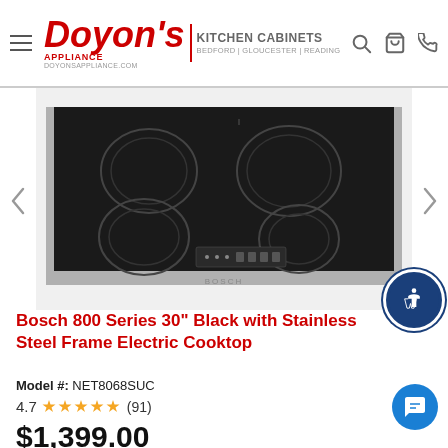[Figure (logo): Doyon's Appliance Kitchen Cabinets logo with red italic text and gray kitchen cabinets text, BEDFORD | GLOUCESTER | READING locations]
[Figure (photo): Bosch 800 Series 30-inch black electric cooktop with stainless steel frame, showing 4 burner rings and touch control panel]
Bosch 800 Series 30" Black with Stainless Steel Frame Electric Cooktop
Model #: NET8068SUC
4.7 ★★★★★ (91)
$1,399.00